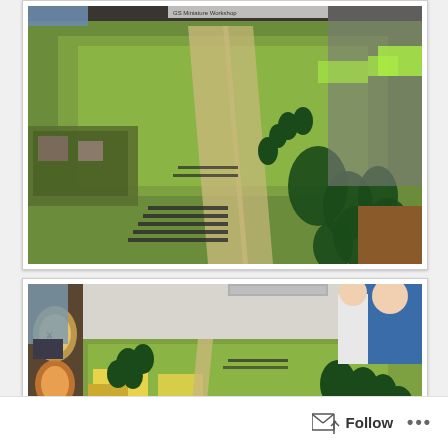[Figure (photo): Overhead perspective photo of a large miniature wargame table covered in green terrain with model trees, roads, fields, and military miniature figures arranged in formations. People stand around the table. A sign reading 'GS Miniature Workshop' is visible in the background.]
[Figure (photo): Side-angle photo of another section of the miniature wargame table showing green terrain with fields, roads, trees, and miniature figures. A boy in a blue hoodie and a girl look at the table from the right side. A decorative banner/poster is visible on the left.]
Follow ...